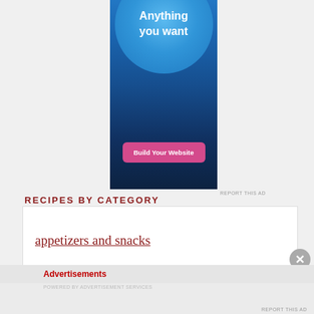[Figure (screenshot): Advertisement banner with blue gradient background, circular lighter blue shape at top, white text 'Anything you want', and a pink/magenta 'Build Your Website' button]
REPORT THIS AD
RECIPES BY CATEGORY
appetizers and snacks
Advertisements
REPORT THIS AD